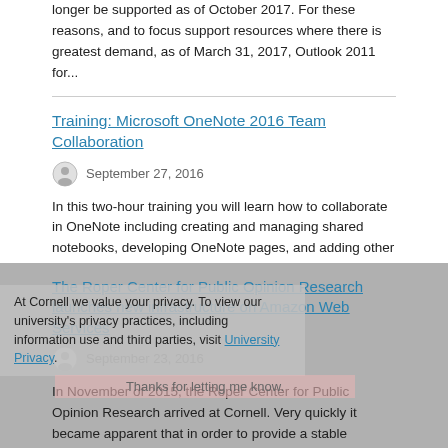longer be supported as of October 2017. For these reasons, and to focus support resources where there is greatest demand, as of March 31, 2017, Outlook 2011 for...
Training: Microsoft OneNote 2016 Team Collaboration
September 27, 2016
In this two-hour training you will learn how to collaborate in OneNote including creating and managing shared notebooks, developing OneNote pages, and adding other content to a OneNote page.
The Roper Center for Public Opinion Research launches new infrastructure on Amazon Web Services
September 23, 2016
In November of 2015, the Roper Center for Public Opinion Research arrived at Cornell. Very quickly it became apparent that in order to provide a stable experience to their membership, the existing single-server infrastructure would need to be replaced with a more modern and scalable solution....